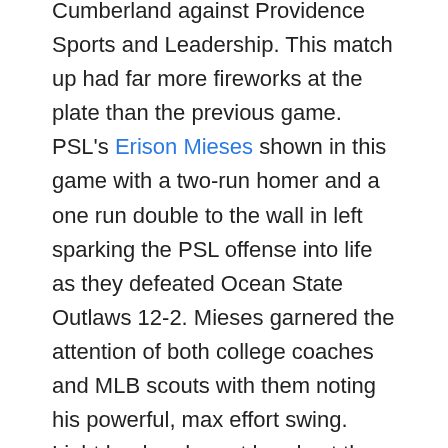Cumberland against Providence Sports and Leadership. This match up had far more fireworks at the plate than the previous game. PSL's Erison Mieses shown in this game with a two-run homer and a one run double to the wall in left sparking the PSL offense into life as they defeated Ocean State Outlaws 12-2. Mieses garnered the attention of both college coaches and MLB scouts with them noting his powerful, max effort swing. Light load and great hands at the plate.
I moved on the Rhode Island College and the fantastic Pontarelli Field in Providence, RI for the final two games of my day 1. There I saw the third game of the day between NCL Post 36 Post 59 and